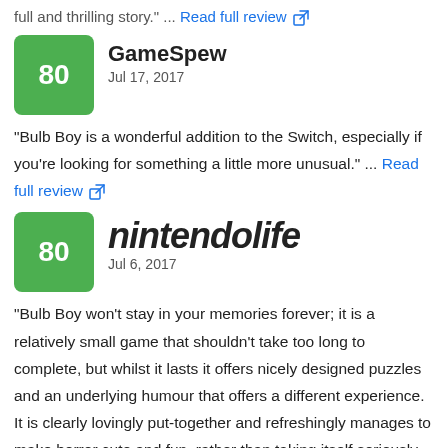"full and thrilling story." ... Read full review
GameSpew
Jul 17, 2017
"Bulb Boy is a wonderful addition to the Switch, especially if you're looking for something a little more unusual." ... Read full review
nintendolife
Jul 6, 2017
"Bulb Boy won't stay in your memories forever; it is a relatively small game that shouldn't take too long to complete, but whilst it lasts it offers nicely designed puzzles and an underlying humour that offers a different experience. It is clearly lovingly put-together and refreshingly manages to make horror cute and fun, rather than taking itself seriously. Bulb Boy didn't take our breath away and isn't revolutionary, but its appeal comes in the form of its